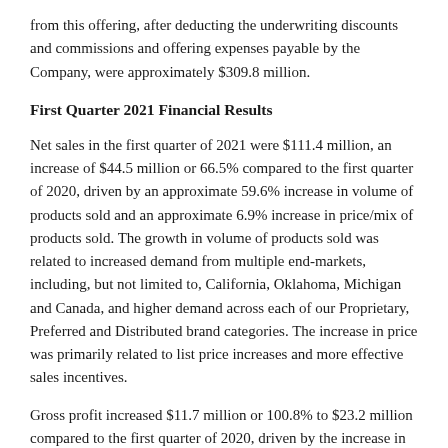from this offering, after deducting the underwriting discounts and commissions and offering expenses payable by the Company, were approximately $309.8 million.
First Quarter 2021 Financial Results
Net sales in the first quarter of 2021 were $111.4 million, an increase of $44.5 million or 66.5% compared to the first quarter of 2020, driven by an approximate 59.6% increase in volume of products sold and an approximate 6.9% increase in price/mix of products sold. The growth in volume of products sold was related to increased demand from multiple end-markets, including, but not limited to, California, Oklahoma, Michigan and Canada, and higher demand across each of our Proprietary, Preferred and Distributed brand categories. The increase in price was primarily related to list price increases and more effective sales incentives.
Gross profit increased $11.7 million or 100.8% to $23.2 million compared to the first quarter of 2020, driven by the increase in net sales and an approximate 350 basis point improvement in gross margin to 20.8% compared to 17.5% in the first quarter of 2020.